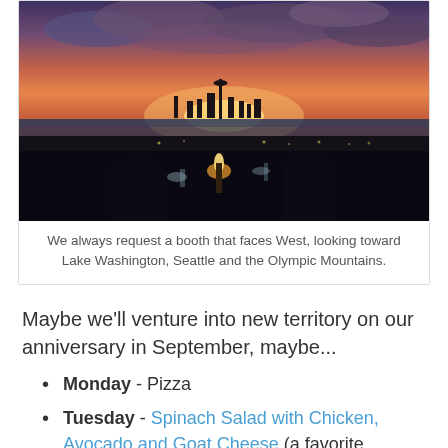[Figure (photo): A dinner scene photographed from inside a restaurant looking west. The silhouette of diners with wine glasses and a candle are in the foreground. Through the window is a dramatic sunset sky of orange, pink, and purple over Lake Washington and the Seattle skyline with mountains in the distance.]
We always request a booth that faces West, looking toward Lake Washington, Seattle and the Olympic Mountains.
Maybe we'll venture into new territory on our anniversary in September, maybe...
Monday - Pizza
Tuesday - Spinach Salad with Chicken, Avocado and Goat Cheese (a favorite Pinterest find from Recipe Girl)